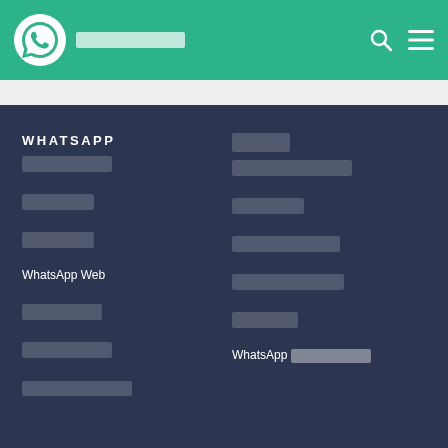WhatsApp header navigation
WHATSAPP
[redacted]
[redacted]
[redacted]
WhatsApp Web
[redacted]
[redacted]
[right col header redacted]
[right col redacted]
[redacted]
[redacted]
[redacted]
[redacted]
WhatsApp [redacted]
[bottom left redacted]
[bottom right redacted]